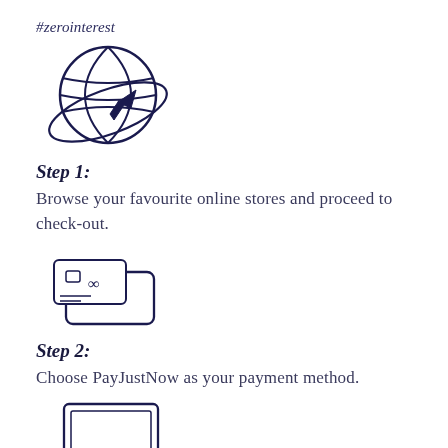#zerointerest
[Figure (illustration): Hand-drawn illustration of a globe with a cursor/arrow pointing through it, representing online browsing]
Step 1:
Browse your favourite online stores and proceed to check-out.
[Figure (illustration): Hand-drawn illustration of a wallet with a credit card, representing payment]
Step 2:
Choose PayJustNow as your payment method.
[Figure (illustration): Hand-drawn illustration of a laptop computer]
Step 3:
Create your account as easily as if your eyes were shut (though we'd recommend you keep